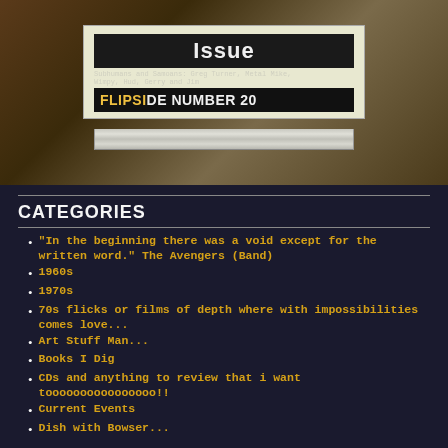[Figure (photo): Photo of a stack of Flipside Number 20 magazines/zines on a wooden surface. The cover shows text: 'Issue', 'Subhumans and Samoans: Greg Turner, Metal Mike, Wimpy, Hud, Gerry and Jim', 'FLIPSIDE NUMBER 20']
CATEGORIES
“In the beginning there was a void except for the written word.” The Avengers (Band)
1960s
1970s
70s flicks or films of depth where with impossibilities comes love...
Art Stuff Man...
Books I Dig
CDs and anything to review that i want toooooooooooooooo!!
Current Events
Dish with Bowser...